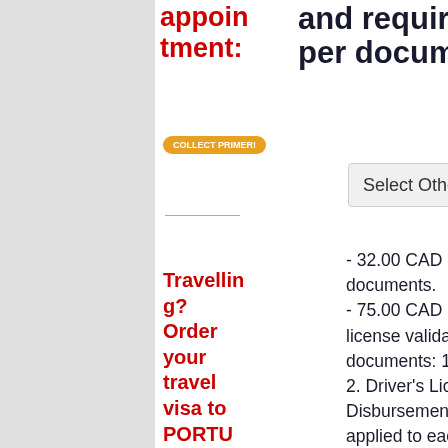appointment: and requirements per document:
[Figure (screenshot): Orange rounded button with white text]
[Figure (screenshot): Select Other Country dropdown]
Travelling? Order your travel visa to PORTUGAL!
- 32.00 CAD Note: All types of documents. - 75.00 CAD Note: Portugal driver's license validation. Required documents: 1. Valid passport copy; 2. Driver's License in original. Disbursement fee of 189.98 applied to each document. Processing time by PORTUGAL embassy/consulate is 1 business days. Please allow extra time for our